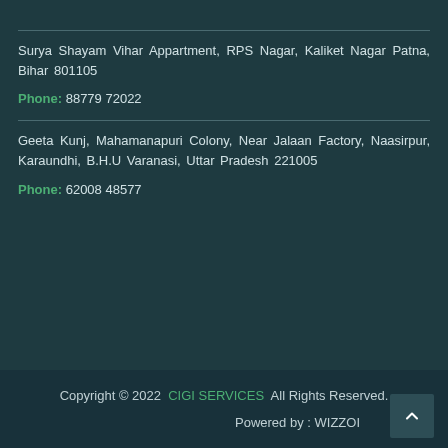Surya Shayam Vihar Appartment, RPS Nagar, Kaliket Nagar Patna, Bihar 801105
Phone: 88779 72022
Geeta Kunj, Mahamanapuri Colony, Near Jalaan Factory, Naasirpur, Karaundhi, B.H.U Varanasi, Uttar Pradesh 221005
Phone: 62008 48577
Copyright © 2022 CIGI SERVICES All Rights Reserved. Powered by : WIZZOI